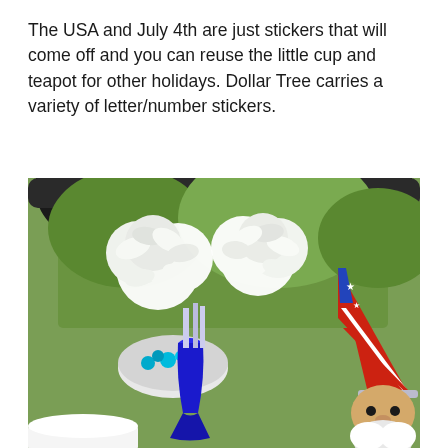The USA and July 4th are just stickers that will come off and you can reuse the little cup and teapot for other holidays. Dollar Tree carries a variety of letter/number stickers.
[Figure (photo): Outdoor patio table setting with white tissue paper pom-pom flowers in a cobalt blue vase, a patriotic gnome figurine wearing a red, white and blue stars-and-stripes hat, a white ceramic teacup, and a bowl with turquoise gems in the background. Green trees and black railing visible in background.]